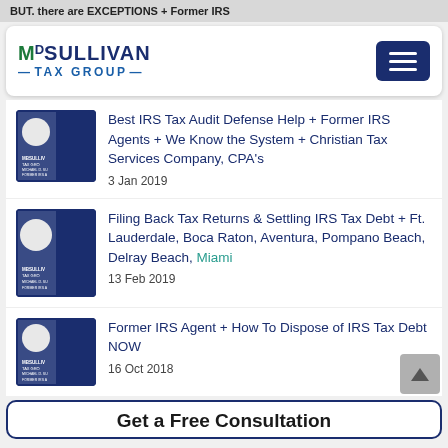BUT. there are EXCEPTIONS + Former IRS
[Figure (logo): MD Sullivan Tax Group logo with green and dark blue text]
Best IRS Tax Audit Defense Help + Former IRS Agents + We Know the System + Christian Tax Services Company, CPA's
3 Jan 2019
Filing Back Tax Returns & Settling IRS Tax Debt + Ft. Lauderdale, Boca Raton, Aventura, Pompano Beach, Delray Beach, Miami
13 Feb 2019
Former IRS Agent + How To Dispose of IRS Tax Debt NOW
16 Oct 2018
Get a Free Consultation